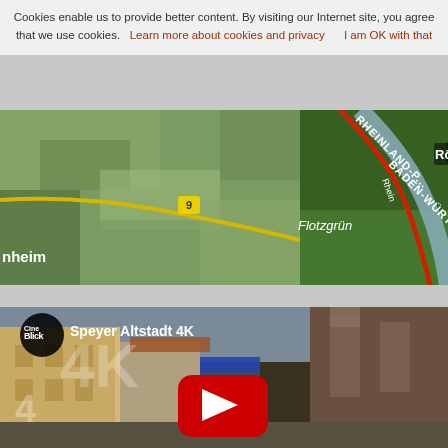Cookies enable us to provide better content. By visiting our Internet site, you agree that we use cookies.  Learn more about cookies and privacy      I am OK with that
[Figure (map): Aerial satellite map showing the region around Römerberg and Flotzgrün, with labels for RHEINLAND-P... and BADEN-WÜRT... states, a yellow road marked 9, and the Rhine river, with nheim visible on the left edge.]
[Figure (screenshot): YouTube video thumbnail for 'Speyer Altstadt 4K' by CineBlick, showing a street view of Speyer old town with historical buildings and a cathedral, with a red YouTube play button overlay and '4K' branding. CineBlick logo visible top left.]